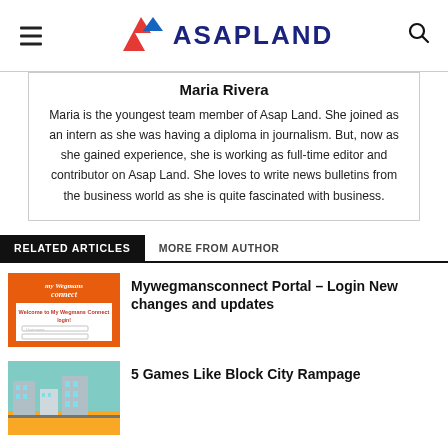ASAPLAND
Maria Rivera
Maria is the youngest team member of Asap Land. She joined as an intern as she was having a diploma in journalism. But, now as she gained experience, she is working as full-time editor and contributor on Asap Land. She loves to write news bulletins from the business world as she is quite fascinated with business.
RELATED ARTICLES   MORE FROM AUTHOR
Mywegmansconnect Portal – Login New changes and updates
5 Games Like Block City Rampage